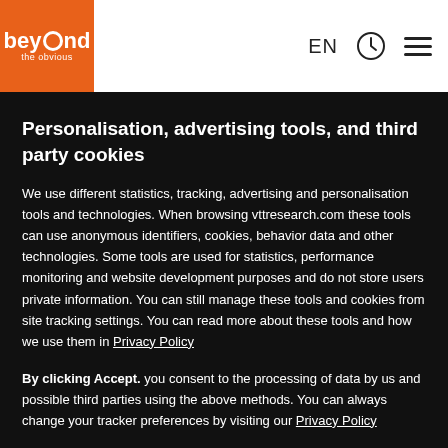beyond the obvious | EN
Personalisation, advertising tools, and third party cookies
We use different statistics, tracking, advertising and personalisation tools and technologies. When browsing vttresearch.com these tools can use anonymous identifiers, cookies, behavior data and other technologies. Some tools are used for statistics, performance monitoring and website development purposes and do not store users private information. You can still manage these tools and cookies from site tracking settings. You can read more about these tools and how we use them in Privacy Policy
By clicking Accept. you consent to the processing of data by us and possible third parties using the above methods. You can always change your tracker preferences by visiting our Privacy Policy
target-oriented work in joint projects, having both company and societal engagement. Altogether 45 people attended